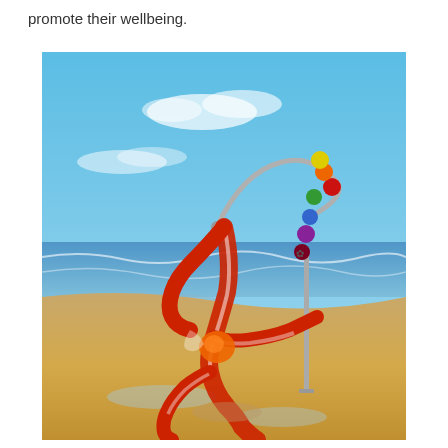promote their wellbeing.
[Figure (illustration): A surrealist painting of an abstract red ribbon-like figure in a yoga or dance pose on a sandy beach with ocean in the background. The figure is connected to a metallic arch structure adorned with colorful beads (red, orange, yellow, green, blue, purple), suggesting chakra or wellness symbolism. The scene has a bright blue sky with clouds.]